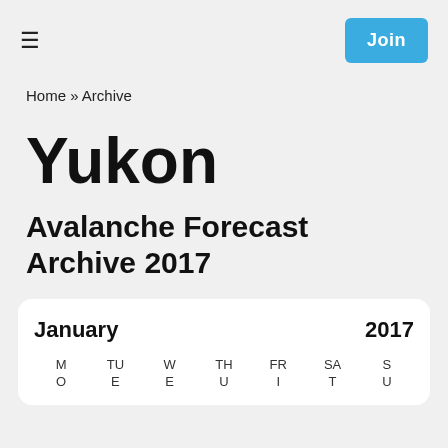≡   Join
Home » Archive
Yukon
Avalanche Forecast Archive 2017
| MO | TUE | WE | THU | FRI | SAT | SU |
| --- | --- | --- | --- | --- | --- | --- |